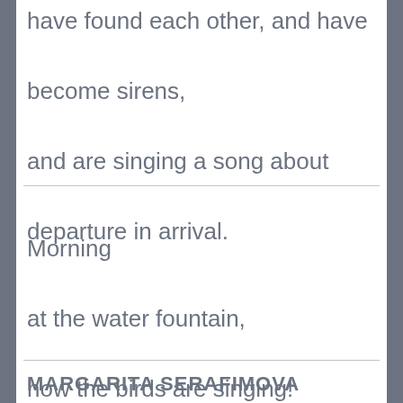have found each other, and have become sirens,
and are singing a song about departure in arrival.
Morning
at the water fountain,
how the birds are singing!
MARGARITA SERAFIMOVA